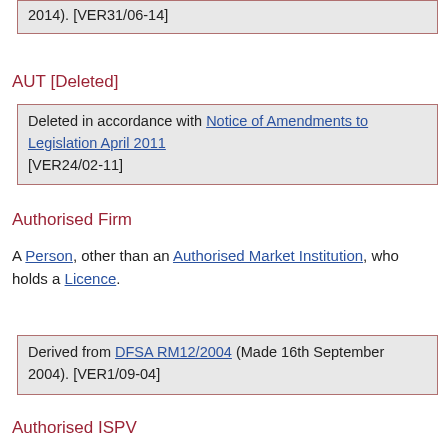[...] [...] (... 2014). [VER31/06-14]
AUT [Deleted]
Deleted in accordance with Notice of Amendments to Legislation April 2011 [VER24/02-11]
Authorised Firm
A Person, other than an Authorised Market Institution, who holds a Licence.
Derived from DFSA RM12/2004 (Made 16th September 2004). [VER1/09-04]
Authorised ISPV